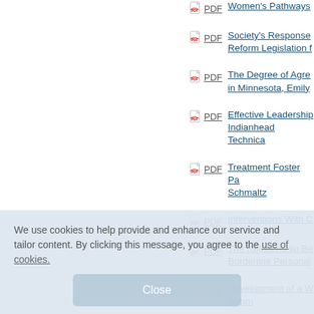PDF Women's Pathways
PDF Society's Response Reform Legislation f
PDF The Degree of Agre in Minnesota, Emily
PDF Effective Leadership Indianhead Technica
PDF Treatment Foster Pa Schmaltz
PDF Interventions With C
PDF The Relationship Be Borderline Personal
PDF Development of a W Strom
PDF The Impact of Collab
We use cookies to help provide and enhance our service and tailor content. By clicking this message, you agree to the use of cookies.